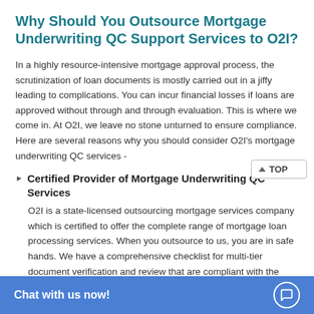Why Should You Outsource Mortgage Underwriting QC Support Services to O2I?
In a highly resource-intensive mortgage approval process, the scrutinization of loan documents is mostly carried out in a jiffy leading to complications. You can incur financial losses if loans are approved without through and through evaluation. This is where we come in. At O2I, we leave no stone unturned to ensure compliance. Here are several reasons why you should consider O2I's mortgage underwriting QC services -
Certified Provider of Mortgage Underwriting QC Services
O2I is a state-licensed outsourcing mortgage services company which is certified to offer the complete range of mortgage loan processing services. When you outsource to us, you are in safe hands. We have a comprehensive checklist for multi-tier document verification and review that are compliant with the
High Accuracy and C